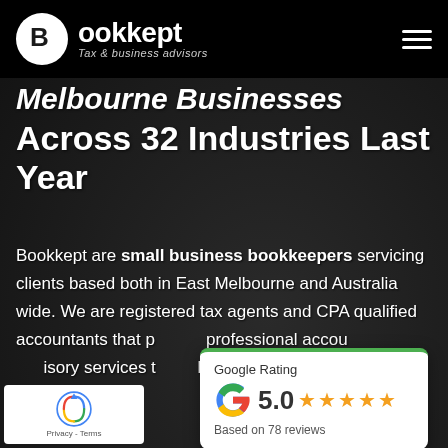[Figure (logo): Bookkept logo - white circle with B letter and crescent, text 'Bookkept Tax & business advisors']
Melbourne Businesses Across 32 Industries Last Year
Bookkept are small business bookkeepers servicing clients based both in East Melbourne and Australia wide. We are registered tax agents and CPA qualified accountants that provide professional accounting and advisory services to Melbourne business clients.
[Figure (other): Google Rating card showing 5.0 stars, based on 78 reviews, with Google G logo and green top border]
[Figure (other): reCAPTCHA Privacy - Terms badge in bottom left corner]